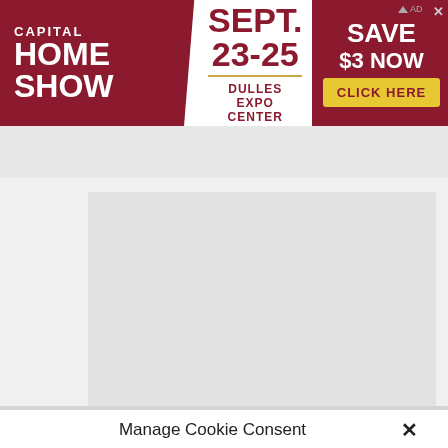[Figure (screenshot): Capital Home Show advertisement banner: red background with white text 'CAPITAL HOME SHOW', center white section with 'SEPT. 23-25' and 'DULLES EXPO CENTER', right section 'SAVE $3 NOW' with yellow 'CLICK HERE' button]
[Figure (screenshot): Browser UI showing a white tab with a chevron/up-arrow icon, and a gray page background with a white content box]
Manage Cookie Consent
To provide the best experiences, we use technologies like cookies to store and/or access device information. Consenting to these technologies will allow us to process data such as browsing behavior or unique IDs on this site. Not consenting or withdrawing consent, may adversely affect certain features and functions.
Accept
Cookie Policy